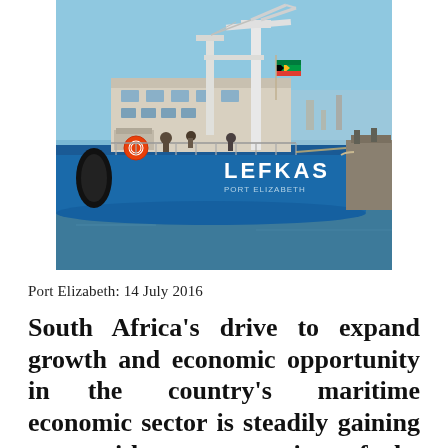[Figure (photo): A blue cargo/research vessel named LEFKAS (Port Elizabeth) docked at a port. The ship has white industrial cranes and equipment on deck, workers visible on the upper deck, a South African flag flying, and a large black fender hanging over the side. The hull is bright blue with the name LEFKAS written in white letters. Blue sky and calm harbor water visible in the background.]
Port Elizabeth: 14 July 2016
South Africa's drive to expand growth and economic opportunity in the country's maritime economic sector is steadily gaining pace with one campaign of the broad Operation Phakisa (O...